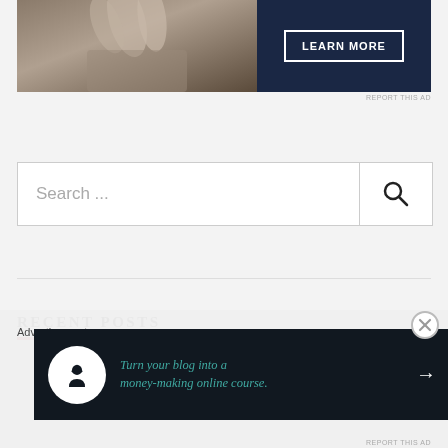[Figure (photo): Advertisement banner: photo of person's hands on left side with dark navy blue background on right side, containing a 'LEARN MORE' button with white border]
REPORT THIS AD
[Figure (other): Search box with placeholder text 'Search ...' and a magnifying glass icon on the right]
RECENT POSTS
Advertisements
[Figure (other): Advertisement banner: dark background with circular logo icon, teal italic text 'Turn your blog into a money-making online course.' and a right arrow]